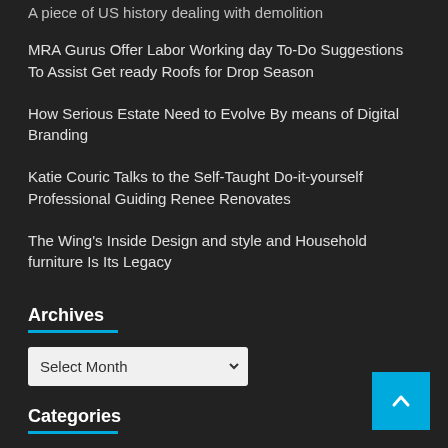A piece of US history dealing with demolition
MRA Gurus Offer Labor Working day To-Do Suggestions To Assist Get ready Roofs for Drop Season
How Serious Estate Need to Evolve By means of Digital Branding
Katie Couric Talks to the Self-Taught Do-it-yourself Professional Guiding Renee Renovates
The Wing's Inside Design and style and Household furniture Is Its Legacy
Archives
Select Month
Categories